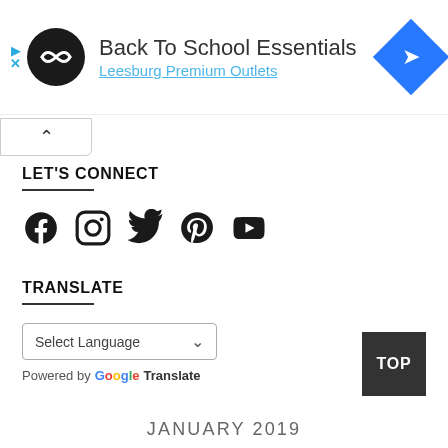[Figure (screenshot): Advertisement banner: circular black logo with infinity-like symbol, title 'Back To School Essentials', subtitle 'Leesburg Premium Outlets', blue diamond navigation icon on right, play and X controls on left]
[Figure (other): Collapse/minimize button with upward chevron arrow]
LET'S CONNECT
[Figure (other): Social media icons: Facebook, Instagram, Twitter, Pinterest, YouTube]
TRANSLATE
Select Language
Powered by Google Translate
TOP
JANUARY 2019